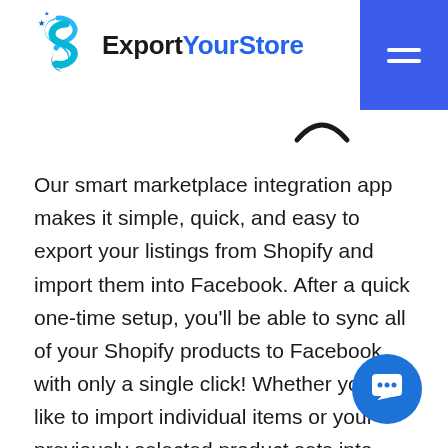[Figure (logo): ExportYourStore logo with stylized S icon in blue, company name in bold with 'ExportYourStore' text]
[Figure (other): Blue hamburger menu button in top right corner]
Our smart marketplace integration app makes it simple, quick, and easy to export your listings from Shopify and import them into Facebook. After a quick one-time setup, you'll be able to sync all of your Shopify products to Facebook with only a single click! Whether you'd like to import individual items or your previously selected product sets into Facebook, ExportYourStore ensures that the process is simple, quick, and worry-free. Thanks to built-in 24/7 inventory monitoring and real-time quantity synchronization between all linked channels, you can always rest assured that we hard at work behind the scenes ensuring that every